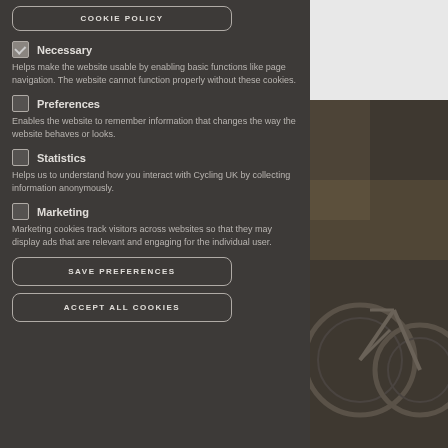COOKIE POLICY
Necessary
Helps make the website usable by enabling basic functions like page navigation. The website cannot function properly without these cookies.
Preferences
Enables the website to remember information that changes the way the website behaves or looks.
Statistics
Helps us to understand how you interact with Cycling UK by collecting information anonymously.
Marketing
Marketing cookies track visitors across websites so that they may display ads that are relevant and engaging for the individual user.
SAVE PREFERENCES
ACCEPT ALL COOKIES
[Figure (photo): Partial view of bicycles, dark background, outdoor scene]